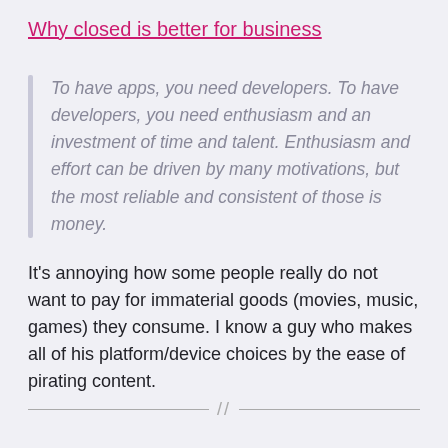Why closed is better for business
To have apps, you need developers. To have developers, you need enthusiasm and an investment of time and talent. Enthusiasm and effort can be driven by many motivations, but the most reliable and consistent of those is money.
It's annoying how some people really do not want to pay for immaterial goods (movies, music, games) they consume. I know a guy who makes all of his platform/device choices by the ease of pirating content.
//